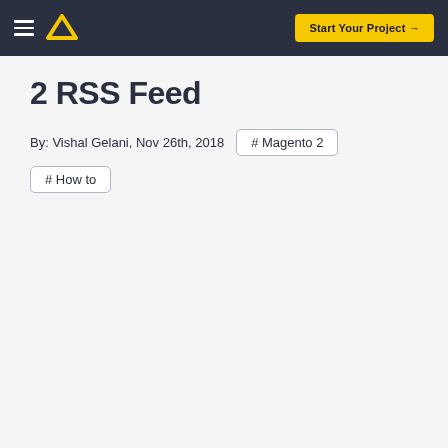Start Your Project →
2 RSS Feed
By: Vishal Gelani, Nov 26th, 2018
# Magento 2
# How to